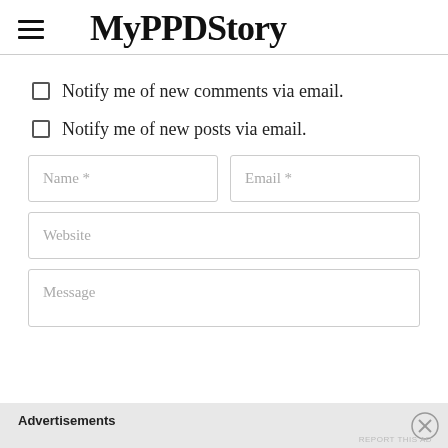MyPPDStory
Notify me of new comments via email.
Notify me of new posts via email.
[Figure (screenshot): Web form with Name, Email, Website, and Message input fields]
Advertisements